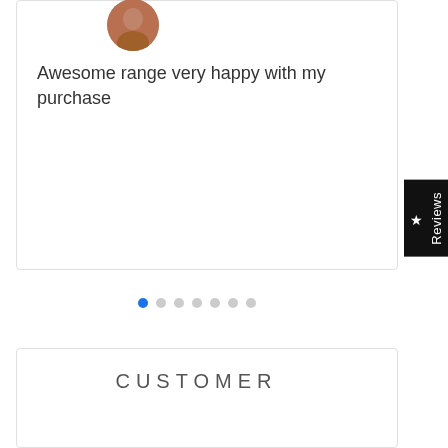[Figure (photo): Circular user avatar photo showing a person, partially cropped at top of page]
Awesome range very happy with my purchase
[Figure (infographic): Pagination dots: first dot is blue/active, followed by 6 grey dots]
[Figure (infographic): Vertical black tab on right side with star icon and Reviews text written vertically]
CUSTOMER